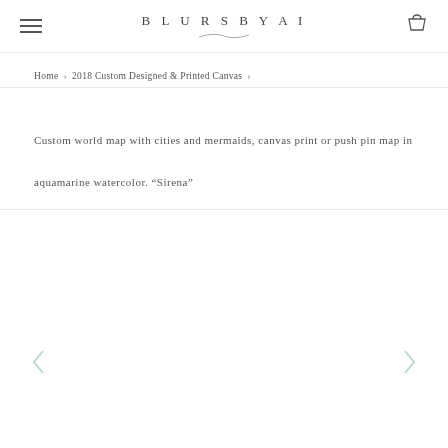BLURSBYAI
Home > 2018 Custom Designed & Printed Canvas >
Custom world map with cities and mermaids, canvas print or push pin map in aquamarine watercolor. "Sirena"
[Figure (other): Product image area (empty/loading state) with search/zoom icon in top-right corner, and left/right navigation arrows at bottom]